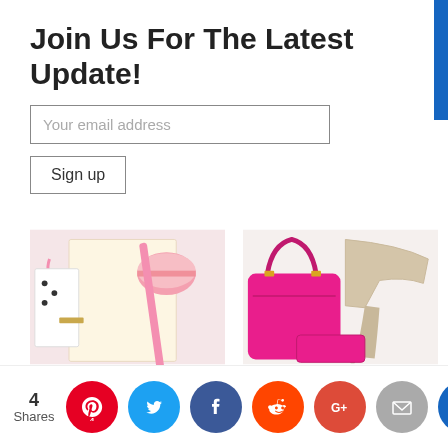Join Us For The Latest Update!
Your email address
Sign up
[Figure (photo): Flat lay of pink stationery, macaroon, and notebook on white background]
Why We Sent Our Baby To China
[Figure (photo): Pink handbag and glittery high heel shoes on white background]
The Pros & Cons Of Being A Female Breadwinner
4 Shares